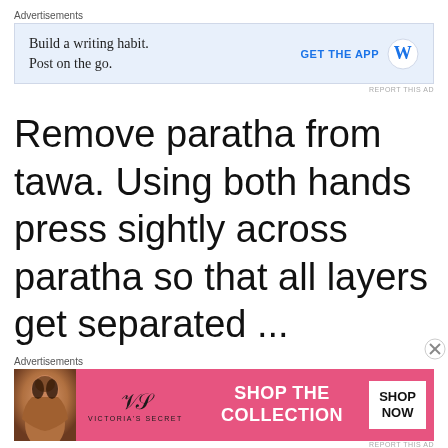[Figure (screenshot): Advertisement banner: 'Build a writing habit. Post on the go.' with GET THE APP button and WordPress logo on light blue background]
Remove paratha from tawa. Using both hands press sightly across paratha so that all layers get separated ...
[Figure (screenshot): Advertisement banner: Victoria's Secret 'SHOP THE COLLECTION' with SHOP NOW button on pink background with model photo]